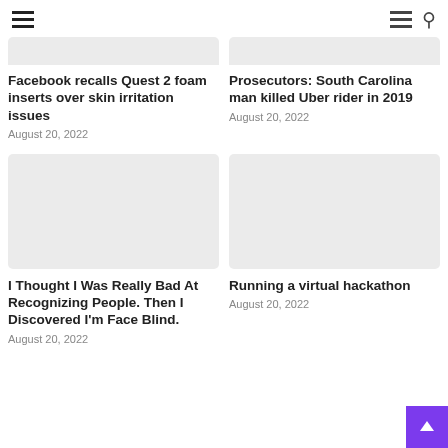Navigation header with hamburger menu and search icon
[Figure (photo): Placeholder image top-left (light gray rectangle)]
Facebook recalls Quest 2 foam inserts over skin irritation issues
August 20, 2022
[Figure (photo): Placeholder image top-right (light gray rectangle)]
Prosecutors: South Carolina man killed Uber rider in 2019
August 20, 2022
[Figure (photo): Placeholder image bottom-left (light gray rectangle)]
I Thought I Was Really Bad At Recognizing People. Then I Discovered I'm Face Blind.
August 20, 2022
[Figure (photo): Placeholder image bottom-right (light gray rectangle)]
Running a virtual hackathon
August 20, 2022